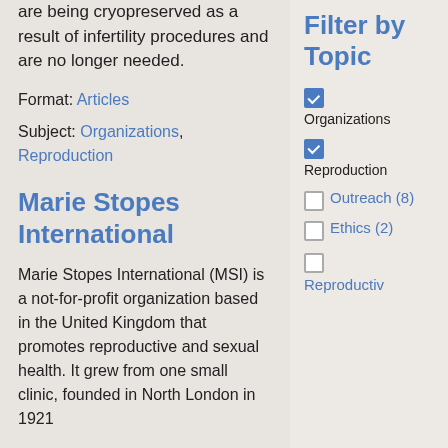are being cryopreserved as a result of infertility procedures and are no longer needed.
Format: Articles
Subject: Organizations, Reproduction
Marie Stopes International
Marie Stopes International (MSI) is a not-for-profit organization based in the United Kingdom that promotes reproductive and sexual health. It grew from one small clinic, founded in North London in 1921
Filter by Topic
Organizations (checked)
Reproduction (checked)
Outreach (8) (unchecked)
Ethics (2) (unchecked)
Reproductiv... (unchecked)